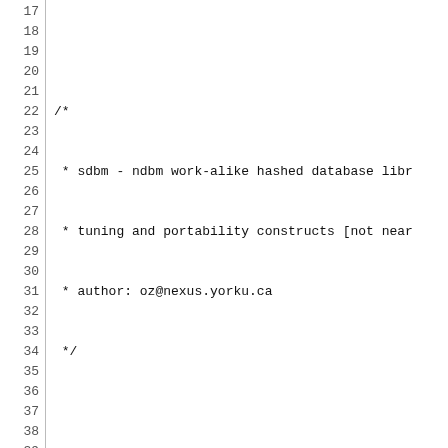[Figure (screenshot): Source code listing (C/C++ header file) showing lines 17-47 of sdbm database library with line numbers on the left and code on the right. Includes preprocessor directives, comments, and macro definitions.]